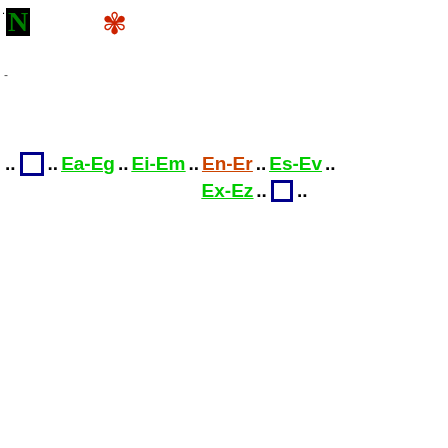[Figure (logo): Green bold letter N on black background with dots before it]
[Figure (illustration): Red decorative snowflake/asterisk symbol]
-
.. □ .. Ea-Eg .. Ei-Em .. En-Er .. Es-Ev .. Ex-Ez .. □ ..